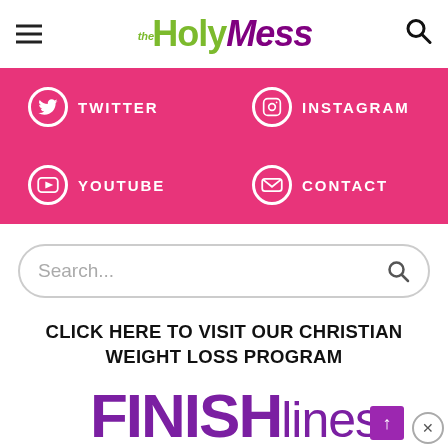the Holy Mess
[Figure (infographic): Pink social media bar with Twitter, Instagram, YouTube, and Contact icons and labels on hot pink background]
[Figure (screenshot): Search bar with placeholder text 'Search...' and magnifying glass icon]
CLICK HERE TO VISIT OUR CHRISTIAN WEIGHT LOSS PROGRAM
[Figure (logo): FINISHlines logo in purple with 'faithful' script text in pink below, yellow highlight, and scroll-up/close UI elements]